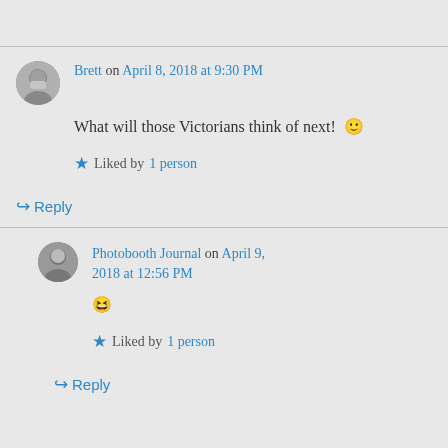Brett on April 8, 2018 at 9:30 PM
What will those Victorians think of next! 🙂
★ Liked by 1 person
↪ Reply
Photobooth Journal on April 9, 2018 at 12:56 PM
😆
★ Liked by 1 person
↪ Reply